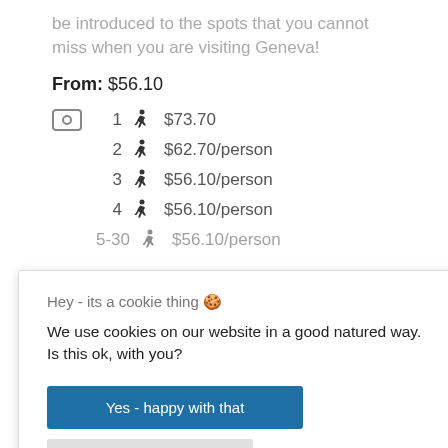be introduced to the spots that you cannot miss when you are visiting Geneva!
From: $56.10
1 [person icon] $73.70
2 [person icon] $62.70/person
3 [person icon] $56.10/person
4 [person icon] $56.10/person
5-30 [person icon] $56.10/person
Hey - its a cookie thing 🍪
We use cookies on our website in a good natured way. Is this ok, with you?
Yes - happy with that
No - I prefer not